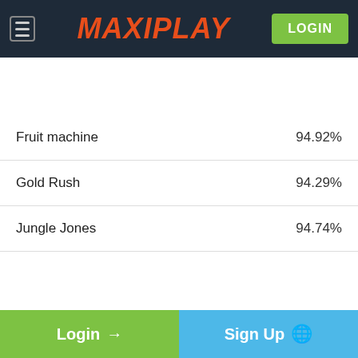MAXIPLAY
| Game | RTP |
| --- | --- |
| Fruit machine | 94.92% |
| Gold Rush | 94.29% |
| Jungle Jones | 94.74% |
| Live the Dream | 94.50% |
| Stardom | 94% |
| Starfruit | 93.81% |
| Super Keno | 92.97% |
Login → Sign Up